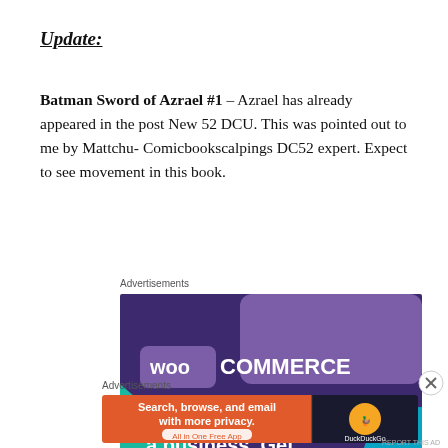Update:
Batman Sword of Azrael #1 – Azrael has already appeared in the post New 52 DCU. This was pointed out to me by Mattchu- Comicbookscalpings DC52 expert. Expect to see movement in this book.
Advertisements
[Figure (screenshot): WooCommerce advertisement banner: purple background with WooCommerce logo and text 'Turn your hobby into']
Advertisements
[Figure (screenshot): DuckDuckGo advertisement: orange and dark background with text 'Search, browse, and email with more privacy. All in One Free App' and DuckDuckGo logo]